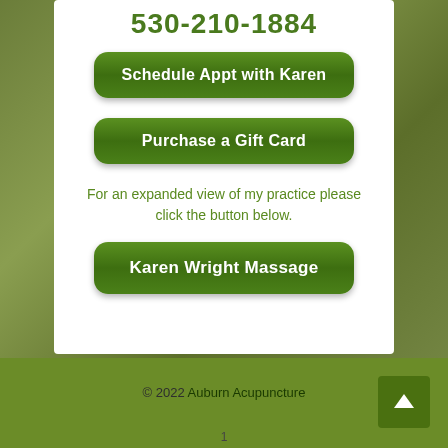530-210-1884
Schedule Appt with Karen
Purchase a Gift Card
For an expanded view of my practice please click the button below.
Karen Wright Massage
© 2022 Auburn Acupuncture
1